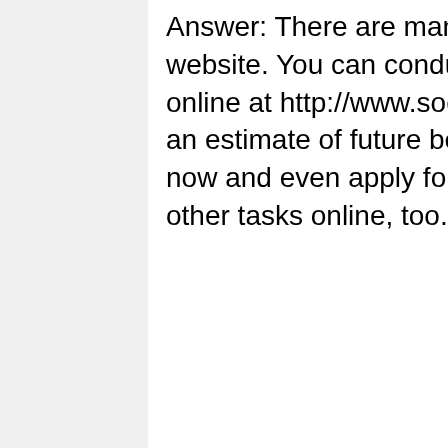Answer: There are many things you can do on Social Security's website. You can conduct most of your Social Security business online at http://www.socialsecurity.gov/onlineservices. You can get an estimate of future benefits, find out if you qualify for benefits now and even apply for benefits. You can complete a number of other tasks online, too. You can estimate your...
Read More